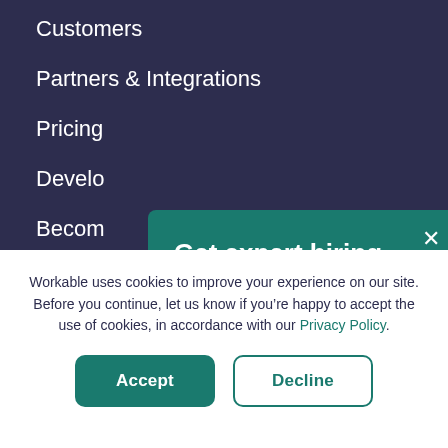Customers
Partners & Integrations
Pricing
Develo
Becom
Start y
Get expert hiring advice!
Sign up to receive the best hiring tips and resources delivered straight to your inbox.
Workable uses cookies to improve your experience on our site. Before you continue, let us know if you’re happy to accept the use of cookies, in accordance with our Privacy Policy.